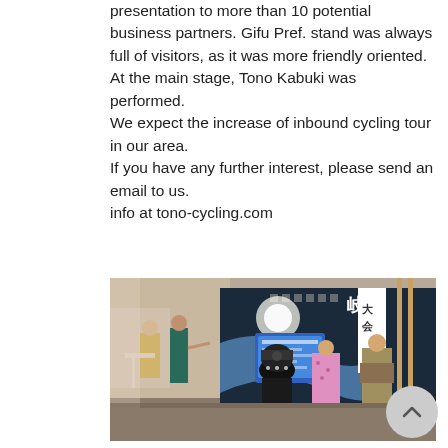presentation to more than 10 potential business partners. Gifu Pref. stand was always full of visitors, as it was more friendly oriented.
At the main stage, Tono Kabuki was performed.
We expect the increase of inbound cycling tour in our area.
If you have any further interest, please send an email to us.
info at tono-cycling.com
[Figure (photo): Indoor exhibition hall photo showing people at a Gifu Prefecture tourism stand with Japanese signage, a presentation screen, and performers in traditional Kabuki costumes including samurai armor.]